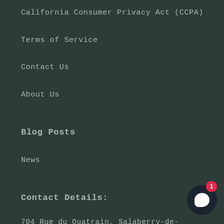California Consumer Privacy Act (CCPA)
Terms of Service
Contact Us
About Us
Blog Posts
News
Contact Details:
704 Rue du Quatrain, Salaberry-de-Valleyfield, 0N5, QC, Canada